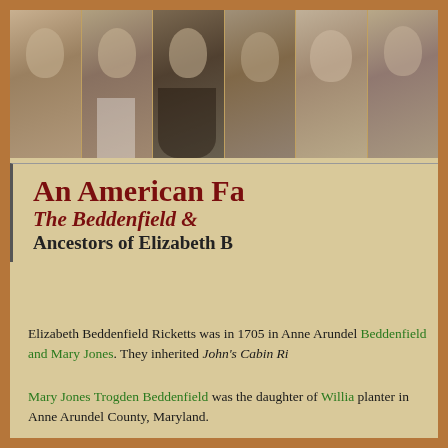[Figure (photo): A horizontal strip of six sepia-toned portrait photographs of women and one man from different eras, arranged side by side across the top of the page.]
An American Fa...
The Beddenfield & ...
Ancestors of Elizabeth B...
Elizabeth Beddenfield Ricketts was in 1705 in Anne Arundel... Beddenfield and Mary Jones. They inherited John's Cabin Ri...
Mary Jones Trogden Beddenfield was the daughter of William... planter in Anne Arundel County, Maryland.